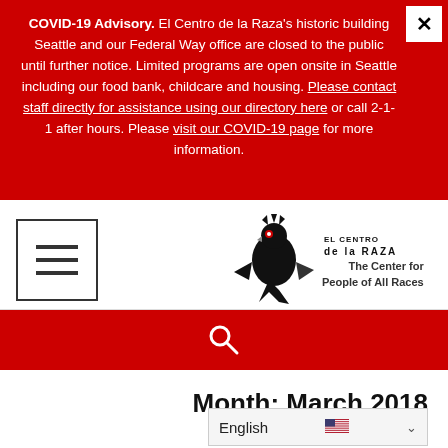COVID-19 Advisory. El Centro de la Raza's historic buildings in Seattle and our Federal Way office are closed to the public until further notice. Limited programs are open onsite in Seattle including our food bank, childcare and housing. Please contact staff directly for assistance using our directory here or call 2-1-1 after hours. Please visit our COVID-19 page for more information.
[Figure (logo): El Centro de la Raza logo with stylized bird/figure graphic and text 'El Centro de la Raza - The Center for People of All Races']
[Figure (other): Search icon (magnifying glass) on red background]
Month: March 2018
English